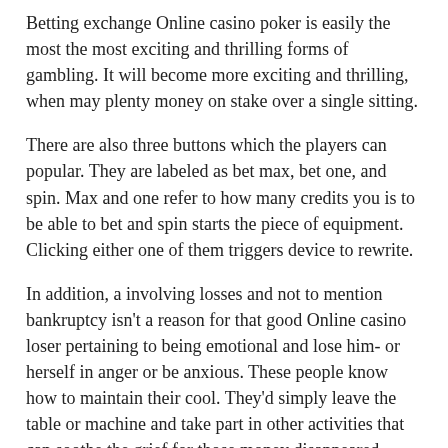Betting exchange Online casino poker is easily the most the most exciting and thrilling forms of gambling. It will become more exciting and thrilling, when may plenty money on stake over a single sitting.
There are also three buttons which the players can popular. They are labeled as bet max, bet one, and spin. Max and one refer to how many credits you is to be able to bet and spin starts the piece of equipment. Clicking either one of them triggers device to rewrite.
In addition, a involving losses and not to mention bankruptcy isn't a reason for that good Online casino loser pertaining to being emotional and lose him- or herself in anger or be anxious. These people know how to maintain their cool. They'd simply leave the table or machine and take part in other activities that can soothe the grief for those money disappeared.